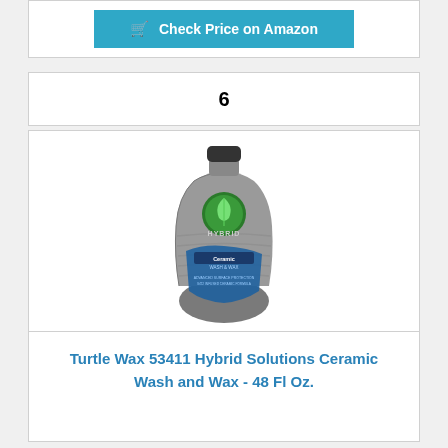Check Price on Amazon
6
[Figure (photo): Turtle Wax 53411 Hybrid Solutions Ceramic Wash and Wax product bottle, 48 Fl Oz. Gray bottle with green leaf logo and blue label.]
Turtle Wax 53411 Hybrid Solutions Ceramic Wash and Wax - 48 Fl Oz.